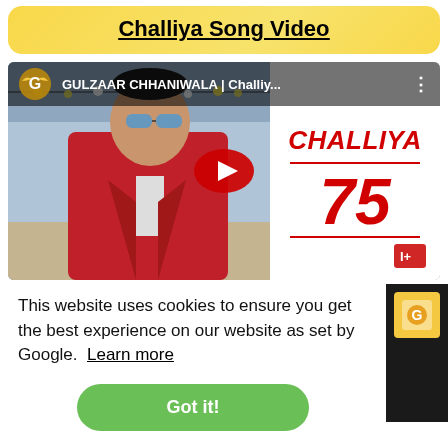Challiya Song Video
[Figure (screenshot): YouTube video thumbnail for GULZAAR CHHANIWALA | Challiy... showing a man in a red jacket with sunglasses, YouTube play button overlay, and CHALLIYA 75 text on the right side with Gulzaar Productions branding]
This website uses cookies to ensure you get the best experience on our website as set by Google.  Learn more
Got it!